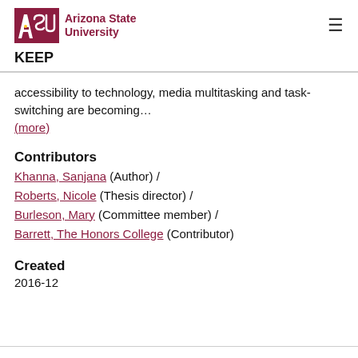ASU Arizona State University | KEEP
accessibility to technology, media multitasking and task-switching are becoming… (more)
Contributors
Khanna, Sanjana (Author) / Roberts, Nicole (Thesis director) / Burleson, Mary (Committee member) / Barrett, The Honors College (Contributor)
Created
2016-12